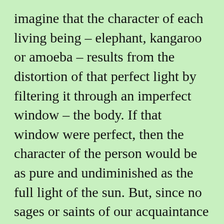imagine that the character of each living being – elephant, kangaroo or amoeba – results from the distortion of that perfect light by filtering it through an imperfect window – the body. If that window were perfect, then the character of the person would be as pure and undiminished as the full light of the sun. But, since no sages or saints of our acquaintance even remotely approach perfection, and since we are not concerned with the virtual opacity of the insect or salamander's body, we shall limit our discussion to the distorted and discolored light with which you and I illuminate our world.
At birth we were all endowed with a